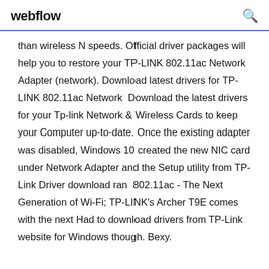webflow
than wireless N speeds. Official driver packages will help you to restore your TP-LINK 802.11ac Network Adapter (network). Download latest drivers for TP-LINK 802.11ac Network  Download the latest drivers for your Tp-link Network & Wireless Cards to keep your Computer up-to-date. Once the existing adapter was disabled, Windows 10 created the new NIC card under Network Adapter and the Setup utility from TP-Link Driver download ran  802.11ac - The Next Generation of Wi-Fi; TP-LINK's Archer T9E comes with the next Had to download drivers from TP-Link website for Windows though. Bexy.